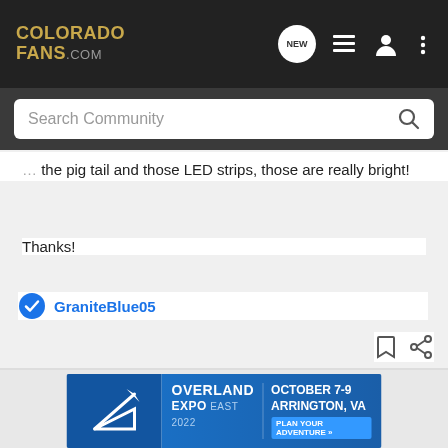COLORADO FANS.COM — navigation header with search bar
the pig tail and those LED strips, those are really bright!
Thanks!
GraniteBlue05
[Figure (screenshot): Overland Expo East 2022 advertisement banner — October 7-9, Arrington, VA, Plan Your Adventure]